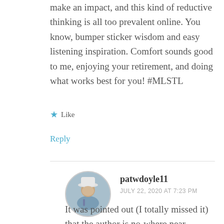make an impact, and this kind of reductive thinking is all too prevalent online. You know, bumper sticker wisdom and easy listening inspiration. Comfort sounds good to me, enjoying your retirement, and doing what works best for you! #MLSTL
★ Like
Reply
patwdoyle11
JULY 22, 2020 AT 7:23 PM
It was pointed out (I totally missed it) that the author is no-where near retirement age! I